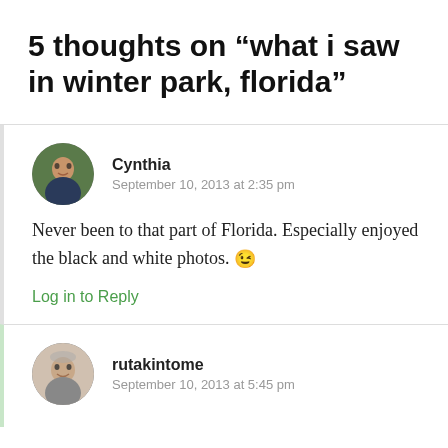5 thoughts on “what i saw in winter park, florida”
Cynthia
September 10, 2013 at 2:35 pm
Never been to that part of Florida. Especially enjoyed the black and white photos. 😉
Log in to Reply
rutakintome
September 10, 2013 at 5:45 pm